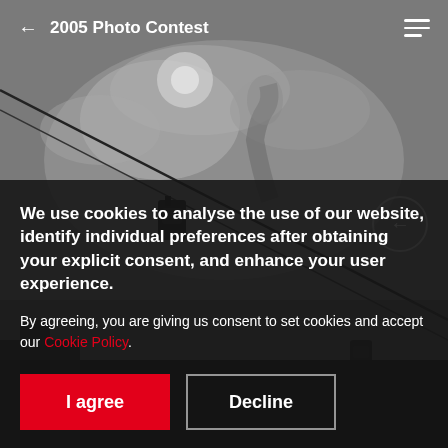[Figure (photo): Grayscale urban photo showing electrical wires with hanging traffic lights/cameras against an overcast cloudy sky, with smoke visible in the background and dark buildings at the bottom.]
← 2005 Photo Contest
We use cookies to analyse the use of our website, identify individual preferences after obtaining your explicit consent, and enhance your user experience.
By agreeing, you are giving us consent to set cookies and accept our Cookie Policy.
I agree
Decline